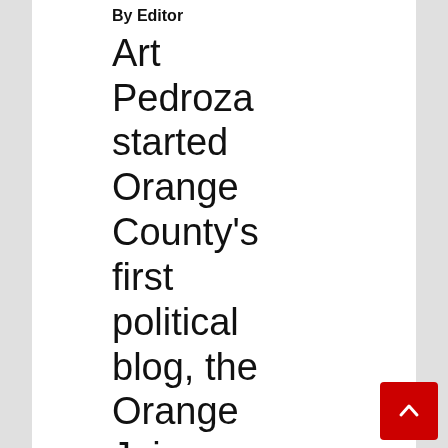By Editor
Art Pedroza started Orange County's first political blog, the Orange Juice, back in 2003. He now publishes